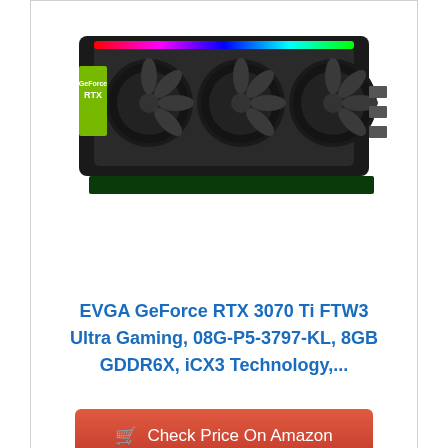[Figure (photo): EVGA GeForce RTX 3070 Ti FTW3 Ultra Gaming graphics card product photo, showing a large black GPU with three fans and RGB lighting, displayed against a white background.]
EVGA GeForce RTX 3070 Ti FTW3 Ultra Gaming, 08G-P5-3797-KL, 8GB GDDR6X, iCX3 Technology,...
Check Price On Amazon
Bestseller No. 7
[Figure (photo): ZOTAC Gaming Twin Edge OC graphics card product photo, showing a GPU box with teal lighting design and the card itself with dual fans, displayed side by side.]